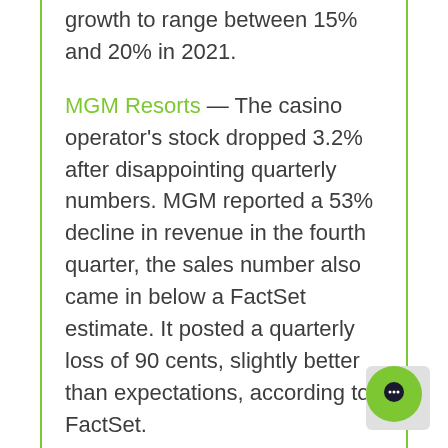growth to range between 15% and 20% in 2021.
MGM Resorts — The casino operator's stock dropped 3.2% after disappointing quarterly numbers. MGM reported a 53% decline in revenue in the fourth quarter, the sales number also came in below a FactSet estimate. It posted a quarterly loss of 90 cents, slightly better than expectations, according to FactSet.
Zynga — Shares of the